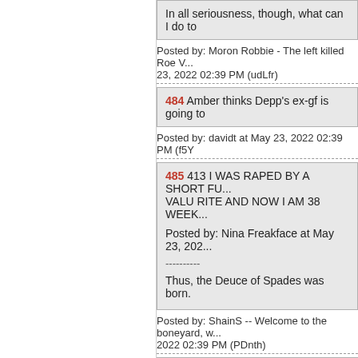In all seriousness, though, what can I do to
Posted by: Moron Robbie - The left killed Roe V... 23, 2022 02:39 PM (udLfr)
484 Amber thinks Depp's ex-gf is going to
Posted by: davidt at May 23, 2022 02:39 PM (f5Y
485 413 I WAS RAPED BY A SHORT FU... VALU RITE AND NOW I AM 38 WEEK...
Posted by: Nina Freakface at May 23, 202...
----------
Thus, the Deuce of Spades was born.
Posted by: ShainS -- Welcome to the boneyard, w... 2022 02:39 PM (PDnth)
486 Thanks dagny.